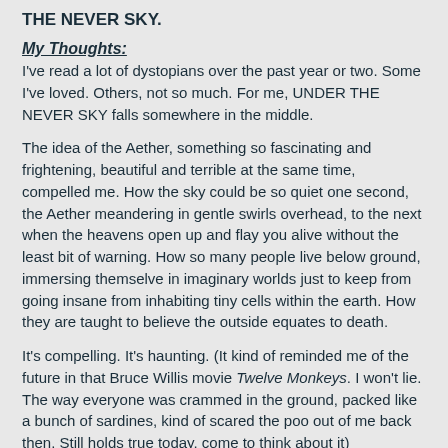THE NEVER SKY.
My Thoughts:
I've read a lot of dystopians over the past year or two.  Some I've loved.  Others, not so much.  For me, UNDER THE NEVER SKY falls somewhere in the middle.
The idea of the Aether, something so fascinating and frightening, beautiful and terrible at the same time, compelled me.  How the sky could be so quiet one second, the Aether meandering in gentle swirls overhead, to the next when the heavens open up and flay you alive without the least bit of warning.  How so many people live below ground, immersing themselve in imaginary worlds just to keep from going insane from inhabiting tiny cells within the earth.  How they are taught to believe the outside equates to death.
It's compelling.  It's haunting.  (It kind of reminded me of the future in that Bruce Willis movie Twelve Monkeys.  I won't lie.  The way everyone was crammed in the ground, packed like a bunch of sardines, kind of scared the poo out of me back then.  Still holds true today, come to think about it)